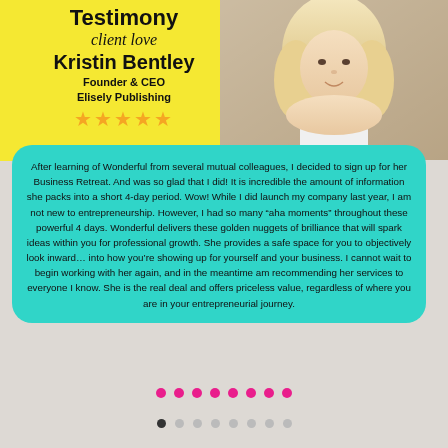Testimony
client love
Kristin Bentley
Founder & CEO
Elisely Publishing
[Figure (photo): Portrait photo of Kristin Bentley, a blonde woman smiling, against a light background]
After learning of Wonderful from several mutual colleagues, I decided to sign up for her Business Retreat. And was so glad that I did! It is incredible the amount of information she packs into a short 4-day period. Wow! While I did launch my company last year, I am not new to entrepreneurship. However, I had so many “aha moments” throughout these powerful 4 days. Wonderful delivers these golden nuggets of brilliance that will spark ideas within you for professional growth. She provides a safe space for you to objectively look inward… into how you’re showing up for yourself and your business. I cannot wait to begin working with her again, and in the meantime am recommending her services to everyone I know. She is the real deal and offers priceless value, regardless of where you are in your entrepreneurial journey.